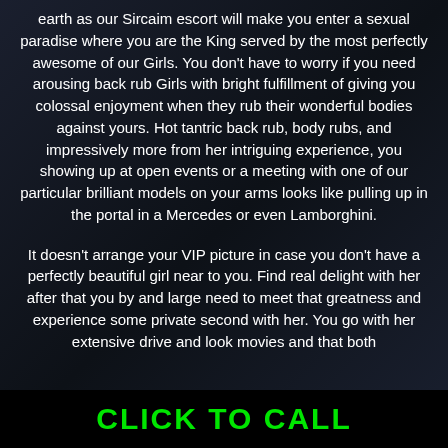earth as our Sircaim escort will make you enter a sexual paradise where you are the King served by the most perfectly awesome of our Girls. You don't have to worry if you need arousing back rub Girls with bright fulfillment of giving you colossal enjoyment when they rub their wonderful bodies against yours. Hot tantric back rub, body rubs, and impressively more from her intriguing experience, you showing up at open events or a meeting with one of our particular brilliant models on your arms looks like pulling up in the portal in a Mercedes or even Lamborghini.
It doesn't arrange your VIP picture in case you don't have a perfectly beautiful girl near to you. Find real delight with her after that you by and large need to meet that greatness and experience some private second with her. You go with her extensive drive and look movies and that both
CLICK TO CALL